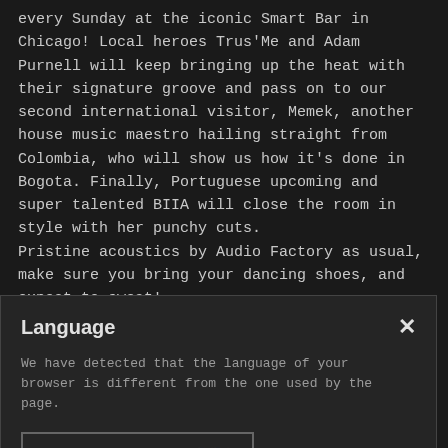every Sunday at the iconic Smart Bar in Chicago! Local heroes Trus'Me and Adam Purnell will keep bringing up the heat with their signature groove and pass on to our second international visitor, Memek, another house music maestro hailing straight from Colombia, who will show us how it's done in Bogota. Finally, Portuguese upcoming and super talented BIIA will close the room in style with her punchy cuts.
Pristine acoustics by Audio Factory as usual, make sure you bring your dancing shoes, and expect to sweat!
Language
We have detected that the language of your browser is different from the one used by the page.
BROWSE IN ENGLISH 🇬🇧
we opy eep , will l if
Many full bars and food stands will be operating